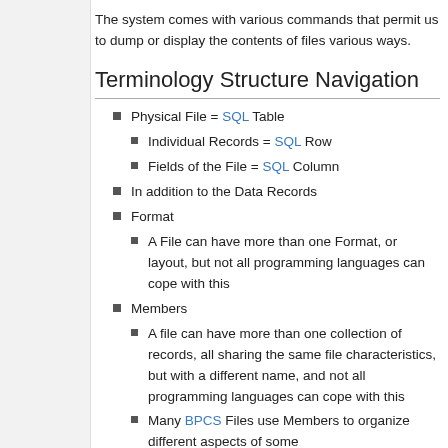The system comes with various commands that permit us to dump or display the contents of files various ways.
Terminology Structure Navigation
Physical File = SQL Table
Individual Records = SQL Row
Fields of the File = SQL Column
In addition to the Data Records
Format
A File can have more than one Format, or layout, but not all programming languages can cope with this
Members
A file can have more than one collection of records, all sharing the same file characteristics, but with a different name, and not all programming languages can cope with this
Many BPCS Files use Members to organize different aspects of some